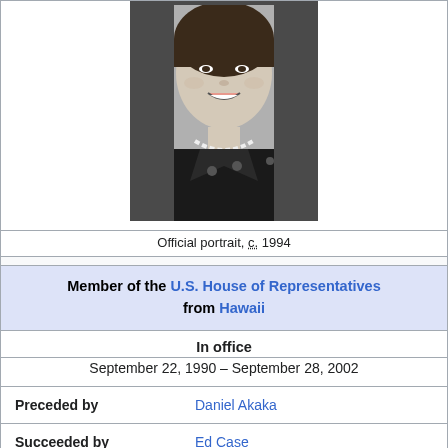[Figure (photo): Black and white official portrait photo of a woman smiling, wearing a dark jacket with pearl necklace]
Official portrait, c. 1994
Member of the U.S. House of Representatives from Hawaii
In office
September 22, 1990 – September 28, 2002
Preceded by Daniel Akaka
Succeeded by Ed Case
Constituency 2nd district
In office
January 3, 1965 – January 3, 1977